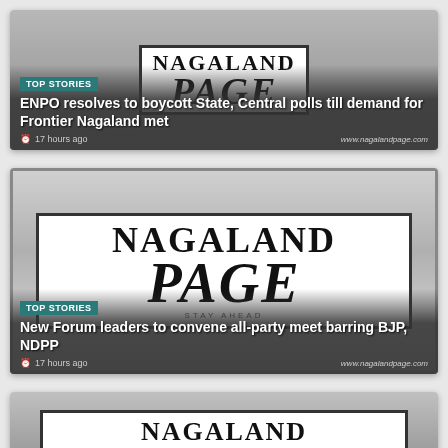[Figure (screenshot): Nagaland Page newspaper logo with TOP STORIES tag]
TOP STORIES
ENPO resolves to boycott State, Central polls till demand for Frontier Nagaland met
17 hours ago
[Figure (screenshot): Nagaland Page newspaper logo with TOP STORIES tag]
TOP STORIES
New Forum leaders to convene all-party meet barring BJP, NDPP
17 hours ago
[Figure (screenshot): Nagaland Page newspaper logo partial view]